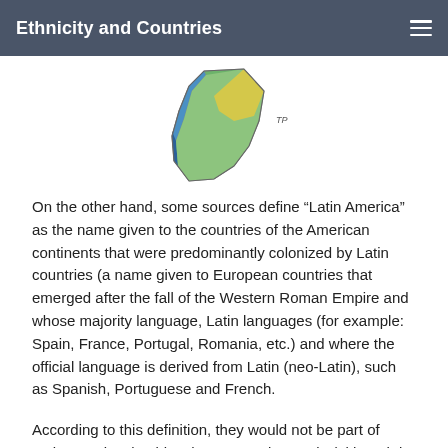Ethnicity and Countries
[Figure (map): Partial map of South America showing countries colored in blue, green, and yellow tones with a small label 'TP' to the right.]
On the other hand, some sources define “Latin America” as the name given to the countries of the American continents that were predominantly colonized by Latin countries (a name given to European countries that emerged after the fall of the Western Roman Empire and whose majority language, Latin languages (for example: Spain, France, Portugal, Romania, etc.) and where the official language is derived from Latin (neo-Latin), such as Spanish, Portuguese and French.
According to this definition, they would not be part of Latin America, besides the USA and Canada (although in Canada the official languages are English and French and the latter is the most spoken), Suriname and Guyana, both colonized by England and Holland (countries of Germanic origin) and whose official language is Dutch